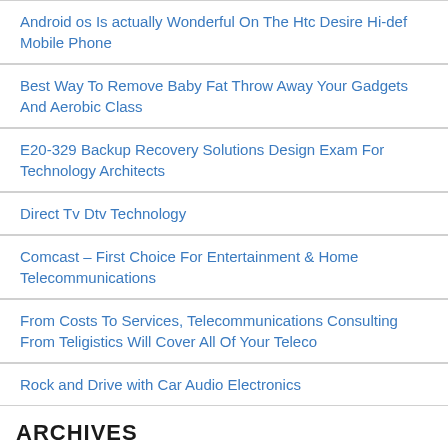Android os Is actually Wonderful On The Htc Desire Hi-def Mobile Phone
Best Way To Remove Baby Fat Throw Away Your Gadgets And Aerobic Class
E20-329 Backup Recovery Solutions Design Exam For Technology Architects
Direct Tv Dtv Technology
Comcast – First Choice For Entertainment & Home Telecommunications
From Costs To Services, Telecommunications Consulting From Teligistics Will Cover All Of Your Teleco
Rock and Drive with Car Audio Electronics
ARCHIVES